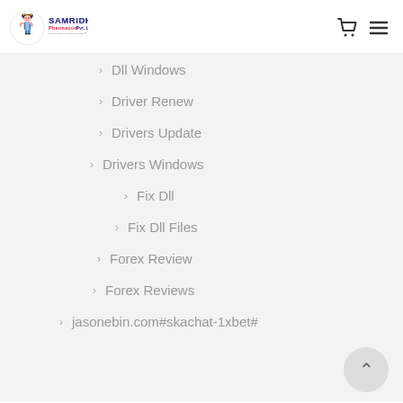Samridhi Pharmacom Pvt. Ltd.
Dll Windows
Driver Renew
Drivers Update
Drivers Windows
Fix Dll
Fix Dll Files
Forex Review
Forex Reviews
jasonebin.com#skachat-1xbet#